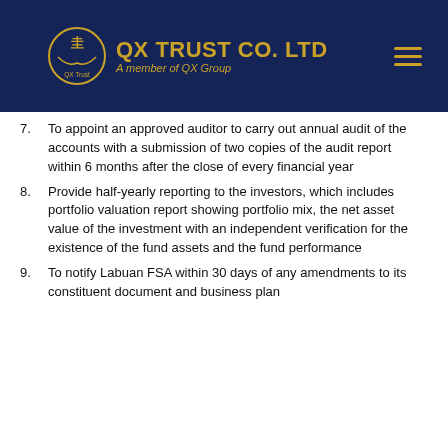QX TRUST CO. LTD — A member of QX Group
7. To appoint an approved auditor to carry out annual audit of the accounts with a submission of two copies of the audit report within 6 months after the close of every financial year
8. Provide half-yearly reporting to the investors, which includes portfolio valuation report showing portfolio mix, the net asset value of the investment with an independent verification for the existence of the fund assets and the fund performance
9. To notify Labuan FSA within 30 days of any amendments to its constituent document and business plan